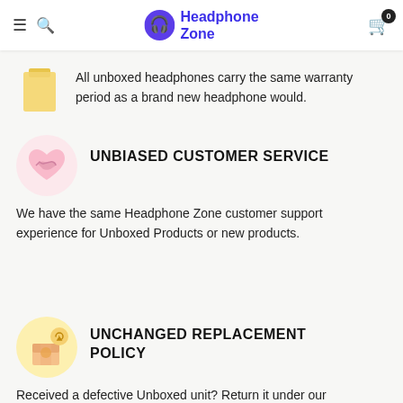Headphone Zone
All unboxed headphones carry the same warranty period as a brand new headphone would.
UNBIASED CUSTOMER SERVICE
We have the same Headphone Zone customer support experience for Unboxed Products or new products.
UNCHANGED REPLACEMENT POLICY
Received a defective Unboxed unit? Return it under our Replacement Policy.